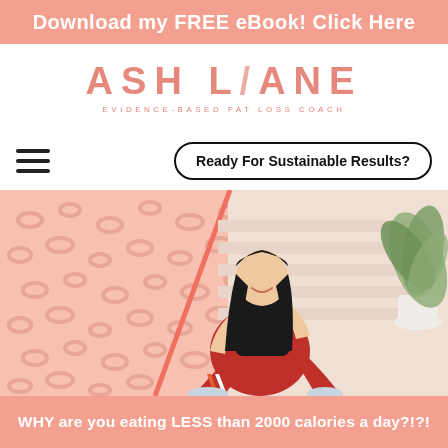Download my FREE eBook! Click Here
[Figure (logo): Ash Lane logo with text 'ASH LANE' and subtitle 'EVIDENCE-BASED FAT LOSS COACH']
Ready For Sustainable Results?
[Figure (photo): Woman with long dark hair sitting on the floor wearing a black crop top and red/orange leggings with white stripes, smiling. Background has a pink leopard pattern on the left and a light neutral background on the right with a plant.]
WHY are you eating LESS than 2000 calories a day?!?!